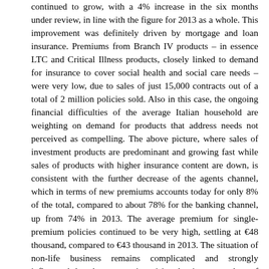continued to grow, with a 4% increase in the six months under review, in line with the figure for 2013 as a whole. This improvement was definitely driven by mortgage and loan insurance. Premiums from Branch IV products – in essence LTC and Critical Illness products, closely linked to demand for insurance to cover social health and social care needs – were very low, due to sales of just 15,000 contracts out of a total of 2 million policies sold. Also in this case, the ongoing financial difficulties of the average Italian household are weighting on demand for products that address needs not perceived as compelling. The above picture, where sales of investment products are predominant and growing fast while sales of products with higher insurance content are down, is consistent with the further decrease of the agents channel, which in terms of new premiums accounts today for only 8% of the total, compared to about 78% for the banking channel, up from 74% in 2013. The average premium for single-premium policies continued to be very high, settling at €48 thousand, compared to €43 thousand in 2013. The situation of non-life business remains complicated and strongly influenced by the economic crisis, despite a number of positive signs. Quarterly figures from ANIA (Italy's National Association of Insurance Companies) for premium revenue by branch and distribution channel at 31 March 2014 reveal a fall of 2.4% compared with the first quarter of 2013